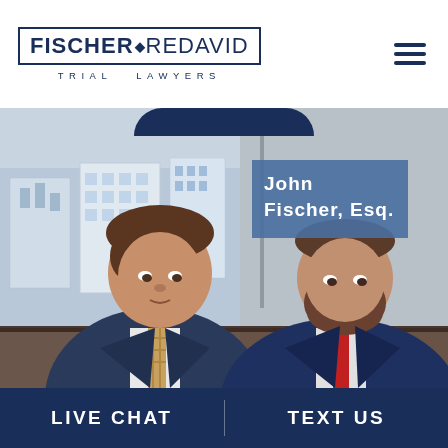FISCHERREDAVID TRIAL LAWYERS
[Figure (photo): Two male attorneys in suits sitting at a desk in an office with large windows overlooking a city skyline. The man on the left wears a dark suit with a plaid tie. The man on the right wears a navy suit with a red tie and has a beard. A blue name tag reads 'John Fischer, Esq.']
John Fischer, Esq.
LIVE CHAT
TEXT US